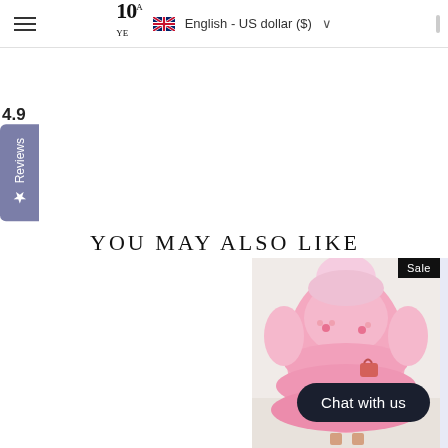10YE  English - US dollar ($)
4.9
★ Reviews
YOU MAY ALSO LIKE
[Figure (photo): Woman in pink tiered ruffle dress with floral embroidery, holding a small pink bag, with a Sale badge overlay]
Chat with us